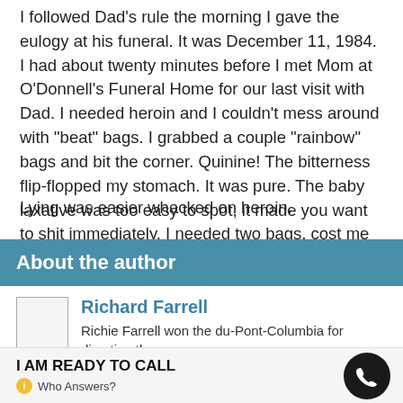I followed Dad's rule the morning I gave the eulogy at his funeral. It was December 11, 1984. I had about twenty minutes before I met Mom at O'Donnell's Funeral Home for our last visit with Dad. I needed heroin and I couldn't mess around with "beat" bags. I grabbed a couple "rainbow" bags and bit the corner. Quinine! The bitterness flip-flopped my stomach. It was pure. The baby laxative was too easy to spot, it made you want to shit immediately. I needed two bags, cost me eighty-bucks.
Lying was easier whacked on heroin.
About the author
Richard Farrell
Richie Farrell won the du-Pont-Columbia for directing the
I AM READY TO CALL
Who Answers?